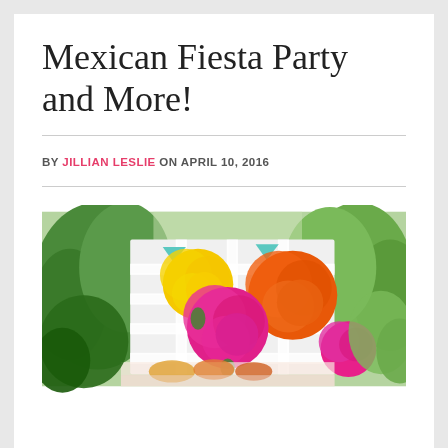Mexican Fiesta Party and More!
BY JILLIAN LESLIE ON APRIL 10, 2016
[Figure (photo): Outdoor Mexican fiesta party decoration photo showing colorful large tissue paper pom-poms in yellow, orange, hot pink attached to a white lattice fence backdrop, with green trees and foliage in the background, and decorative items on a table in the foreground.]